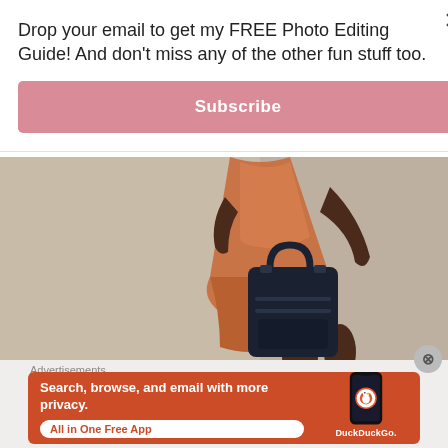Drop your email to get my FREE Photo Editing Guide! And don't miss any of the other fun stuff too.
Subscribe
[Figure (photo): Lower body of a person wearing a copper/tan A-line dress, holding a large dark navy tote bag, against a light gray background]
Advertisements
[Figure (infographic): DuckDuckGo advertisement banner with orange background showing text 'Search, browse, and email with more privacy. All in One Free App' with a phone showing DuckDuckGo app logo]